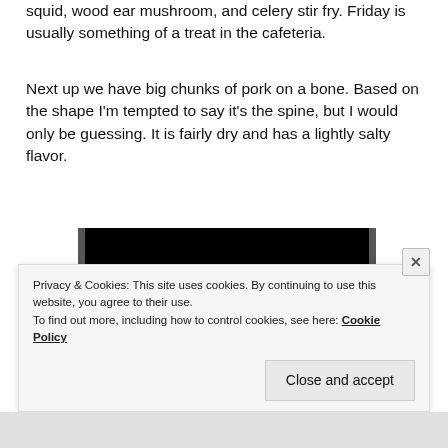squid, wood ear mushroom, and celery stir fry. Friday is usually something of a treat in the cafeteria.
Next up we have big chunks of pork on a bone. Based on the shape I'm tempted to say it's the spine, but I would only be guessing. It is fairly dry and has a lightly salty flavor.
[Figure (other): Advertisement banner with black background showing text 'Read anything great lately?' and a red 'Start reading' button]
Privacy & Cookies: This site uses cookies. By continuing to use this website, you agree to their use. To find out more, including how to control cookies, see here: Cookie Policy
Close and accept